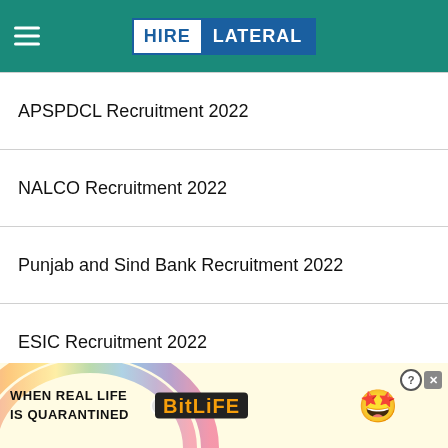HIRE LATERAL
APSPDCL Recruitment 2022
NALCO Recruitment 2022
Punjab and Sind Bank Recruitment 2022
ESIC Recruitment 2022
CIL Recruitment 2022
[Figure (illustration): Advertisement banner for BitLife mobile game with rainbow gradient background, text 'WHEN REAL LIFE IS QUARANTINED', BitLife logo, emoji character with star eyes, and close/question buttons.]